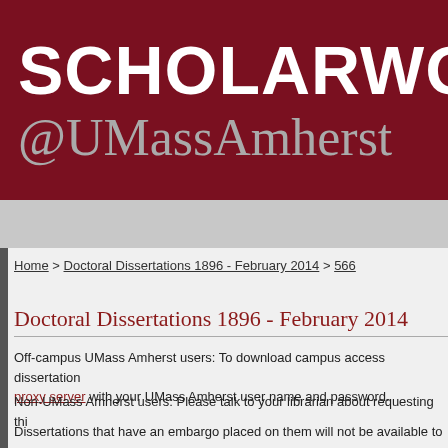SCHOLARWO @UMassAmherst
Home > Doctoral Dissertations 1896 - February 2014 > 566
Doctoral Dissertations 1896 - February 2014
Off-campus UMass Amherst users: To download campus access dissertations, please use our proxy server with your UMass Amherst user name and password.
Non-UMass Amherst users: Please talk to your librarian about requesting this
Dissertations that have an embargo placed on them will not be available to a